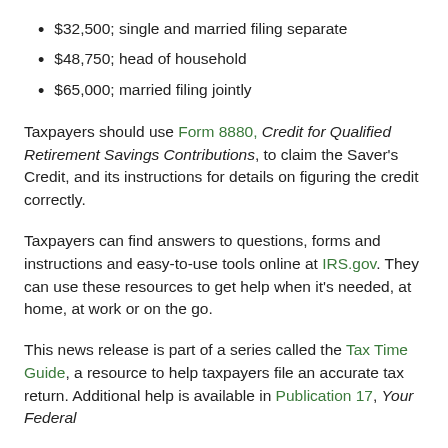$32,500; single and married filing separate
$48,750; head of household
$65,000; married filing jointly
Taxpayers should use Form 8880, Credit for Qualified Retirement Savings Contributions, to claim the Saver's Credit, and its instructions for details on figuring the credit correctly.
Taxpayers can find answers to questions, forms and instructions and easy-to-use tools online at IRS.gov. They can use these resources to get help when it's needed, at home, at work or on the go.
This news release is part of a series called the Tax Time Guide, a resource to help taxpayers file an accurate tax return. Additional help is available in Publication 17, Your Federal